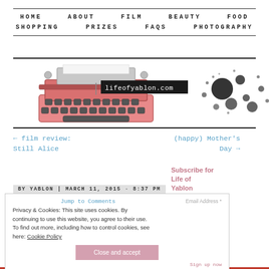HOME   ABOUT   FILM   BEAUTY   FOOD   SHOPPING   PRIZES   FAQS   PHOTOGRAPHY
[Figure (illustration): Pink vintage typewriter illustration with ink splatter on right side, with lifeofyablon.com label overlay]
← film review: Still Alice
(happy) Mother's Day →
Subscribe for Life of Yablon
BY YABLON | MARCH 11, 2015 · 8:37 PM
Jump to Comments
Privacy & Cookies: This site uses cookies. By continuing to use this website, you agree to their use. To find out more, including how to control cookies, see here: Cookie Policy
Email Address *
Close and accept
Sign up now
Sarah Brown and Bec Astley Clarke's